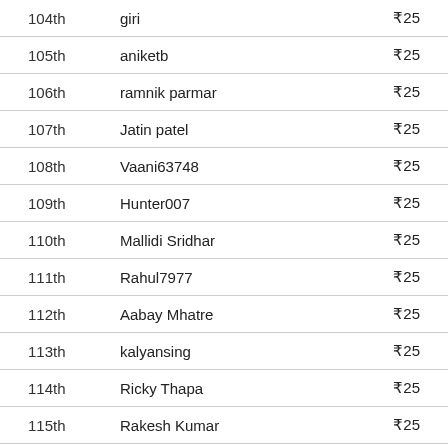| Rank | Name | Prize |
| --- | --- | --- |
| 104th | giri | ₹25 |
| 105th | aniketb | ₹25 |
| 106th | ramnik parmar | ₹25 |
| 107th | Jatin patel | ₹25 |
| 108th | Vaani63748 | ₹25 |
| 109th | Hunter007 | ₹25 |
| 110th | Mallidi Sridhar | ₹25 |
| 111th | Rahul7977 | ₹25 |
| 112th | Aabay Mhatre | ₹25 |
| 113th | kalyansing | ₹25 |
| 114th | Ricky Thapa | ₹25 |
| 115th | Rakesh Kumar | ₹25 |